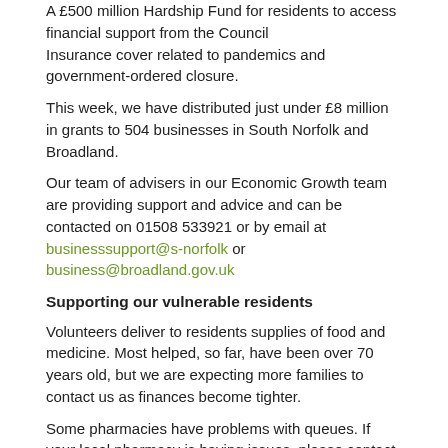A £500 million Hardship Fund for residents to access financial support from the Council
Insurance cover related to pandemics and government-ordered closure.
This week, we have distributed just under £8 million in grants to 504 businesses in South Norfolk and Broadland.
Our team of advisers in our Economic Growth team are providing support and advice and can be contacted on 01508 533921 or by email at businesssupport@s-norfolk or business@broadland.gov.uk
Supporting our vulnerable residents
Volunteers deliver to residents supplies of food and medicine. Most helped, so far, have been over 70 years old, but we are expecting more families to contact us as finances become tighter.
Some pharmacies have problems with queues. If your local pharmacy is having issues, please contact us and we will try and help. There is not a problem with stock or supply, but partly because people are stockpiling medicines.